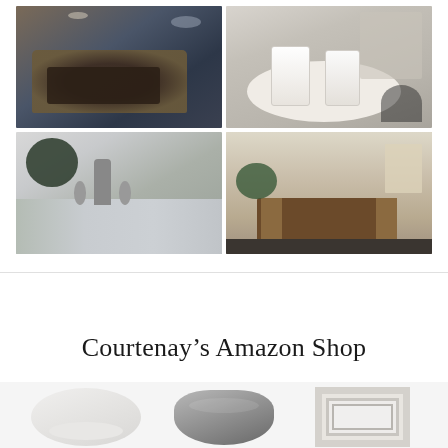[Figure (photo): 2x2 grid of lifestyle photos: top-left shows chocolate baked good on blue plate, top-right shows candles in glass containers on white round tray, bottom-left shows kitchen sink area with granite countertop and chrome fixtures, bottom-right shows home entryway with wooden console table, boots, and decorative items]
Courtenay's Amazon Shop
[Figure (photo): Three partially visible product images at bottom: a white ceramic bowl/dish, a dark decorative bowl, and a white picture frame]